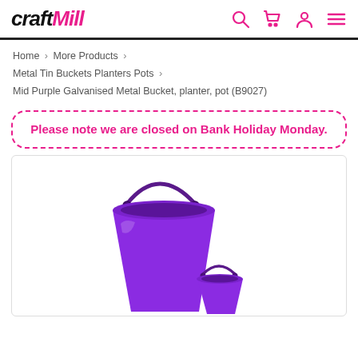craftMill — navigation bar with search, cart, account, menu icons
Home > More Products > Metal Tin Buckets Planters Pots > Mid Purple Galvanised Metal Bucket, planter, pot (B9027)
Please note we are closed on Bank Holiday Monday.
[Figure (photo): Purple galvanised metal bucket/planter product photo on white background]